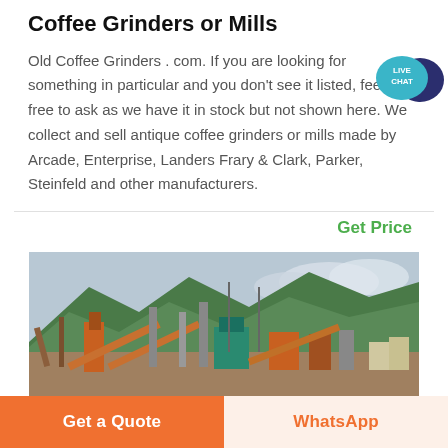Coffee Grinders or Mills
Old Coffee Grinders . com. If you are looking for something in particular and you don't see it listed, feel free to ask as we have it in stock but not shown here. We collect and sell antique coffee grinders or mills made by Arcade, Enterprise, Landers Frary & Clark, Parker, Steinfeld and other manufacturers.
Get Price
[Figure (photo): Industrial mining or crushing plant with conveyor belts, machinery, and green mountains in the background under an overcast sky.]
Get a Quote
WhatsApp